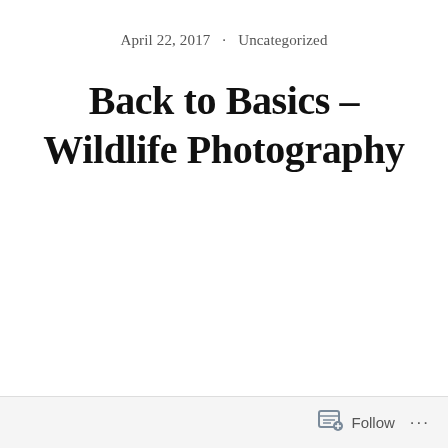April 22, 2017 · Uncategorized
Back to Basics – Wildlife Photography
Follow ...